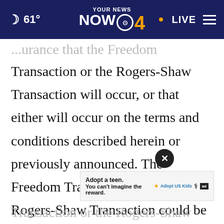61° YOUR NEWS NOW CBS 4 · LIVE
Transaction or the Rogers-Shaw Transaction will occur, or that either will occur on the terms and conditions described herein or previously announced. The Freedom Transaction and the Rogers-Shaw Transaction could be modified, restructured or terminated. There can be no assurance that the Freedom Transaction or the Rogers-Shaw Transaction will be acceptable to regulatory authorities and, if applicable, will be comp[leted] Transaction or the Rogers-Shaw Transaction to
[Figure (screenshot): Ad banner: 'Adopt a teen. You can't imagine the reward.' with Adopt US Kids logo and ad badge. Close button overlay (X) partially overlapping the text.]